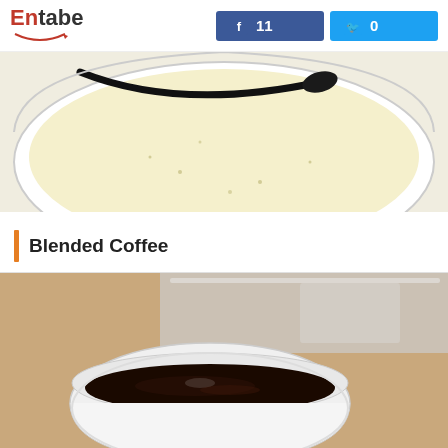Entabe | Facebook 11 | Twitter 0
[Figure (photo): Close-up photo of a white bowl containing a pale yellow custard or cream mixture with a black spoon resting across it, seen from above on a white surface.]
Blended Coffee
[Figure (photo): Photo of a white round cup filled with dark black coffee, placed on a light tan surface with a metallic tray or foil packaging visible in the background.]